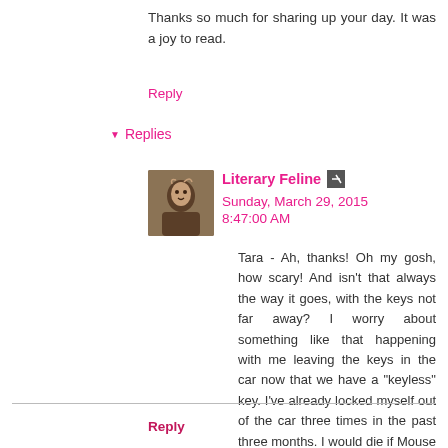Thanks so much for sharing up your day. It was a joy to read.
Reply
Replies
Literary Feline  Sunday, March 29, 2015 8:47:00 AM
Tara - Ah, thanks! Oh my gosh, how scary! And isn't that always the way it goes, with the keys not far away? I worry about something like that happening with me leaving the keys in the car now that we have a "keyless" key. I've already locked myself out of the car three times in the past three months. I would die if Mouse were ever in the car when I did. I think that's one of my worst fears. I am glad it worked out though, even at the cost of $800.
Reply